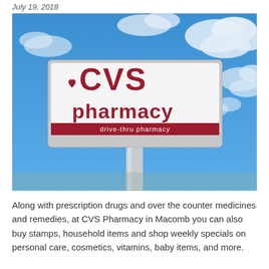July 19, 2018
[Figure (photo): CVS Pharmacy outdoor sign on a pole against a blue sky with white clouds. The sign reads 'CVS pharmacy' in large red letters with a heart logo, and has a red banner below reading 'drive-thru pharmacy'.]
Along with prescription drugs and over the counter medicines and remedies, at CVS Pharmacy in Macomb you can also buy stamps, household items and shop weekly specials on personal care, cosmetics, vitamins, baby items, and more.